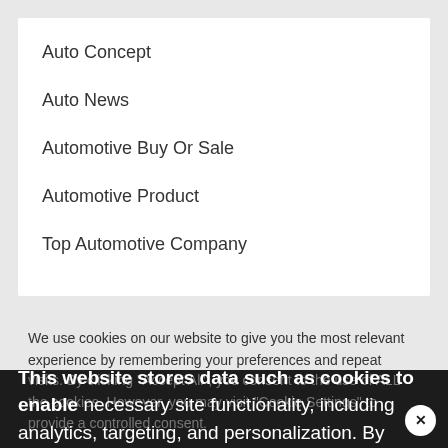Auto Concept
Auto News
Automotive Buy Or Sale
Automotive Product
Top Automotive Company
We use cookies on our website to give you the most relevant experience by remembering your preferences and repeat visits. By clicking "Accept All", you consent to the use of ALL the cookies. However, you may visit "Cookie Settings" to provide a controlled consent.
This website stores data such as cookies to enable necessary site functionality, including analytics, targeting, and personalization. By remaining on this website you indicate your consent Cookie Policy